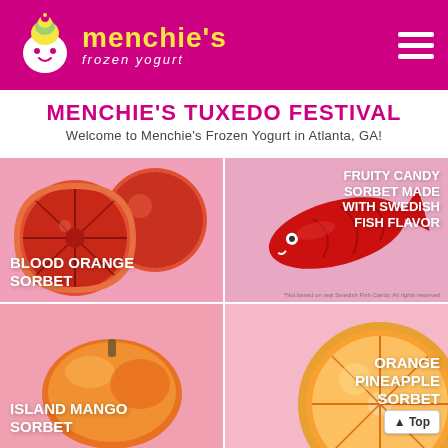[Figure (logo): Menchie's Frozen Yogurt logo with pink header background, yellow stylized text 'menchie's' and white 'frozen yogurt' subtitle, hamburger menu icon on right]
MENCHIE'S TUXEDO FESTIVAL
Welcome to Menchie's Frozen Yogurt in Atlanta, GA!
[Figure (photo): Blood orange sorbet promotional image: blood orange halves on pink background with text 'BLOOD ORANGE SORBET']
[Figure (photo): Fruity candy sorbet promotional image: Swedish Fish candy on pink background with text 'FRUITY CANDY SORBET MADE WITH SWEDISH FISH FLAVOR']
[Figure (photo): Island mango sorbet promotional image: mango on pink background with text 'ISLAND MANGO SORBET']
[Figure (photo): Orange pineapple sorbet promotional image: orange slice on pink background with text 'ORANGE PINEAPPLE SORBET']